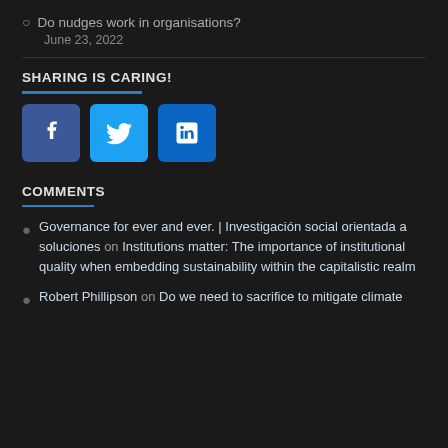Do nudges work in organisations?
June 23, 2022
SHARING IS CARING!
[Figure (infographic): Social sharing buttons for Facebook, Twitter, and LinkedIn]
COMMENTS
Governance for ever and ever. | Investigación social orientada a soluciones on Institutions matter: The importance of institutional quality when embedding sustainability within the capitalistic realm
Robert Phillipson on Do we need to sacrifice to mitigate climate